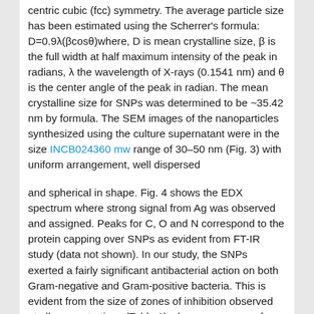centric cubic (fcc) symmetry. The average particle size has been estimated using the Scherrer's formula: D=0.9λ(βcosθ)where, D is mean crystalline size, β is the full width at half maximum intensity of the peak in radians, λ the wavelength of X-rays (0.1541 nm) and θ is the center angle of the peak in radian. The mean crystalline size for SNPs was determined to be ~35.42 nm by formula. The SEM images of the nanoparticles synthesized using the culture supernatant were in the size INCB024360 mw range of 30–50 nm (Fig. 3) with uniform arrangement, well dispersed
and spherical in shape. Fig. 4 shows the EDX spectrum where strong signal from Ag was observed and assigned. Peaks for C, O and N correspond to the protein capping over SNPs as evident from FT-IR study (data not shown). In our study, the SNPs exerted a fairly significant antibacterial action on both Gram-negative and Gram-positive bacteria. This is evident from the size of zones of inhibition observed at all concentrations (Table 1) whereas no zone of inhibition was found in the control discs (Fig. 5). This clearly states that the toxicity was induced